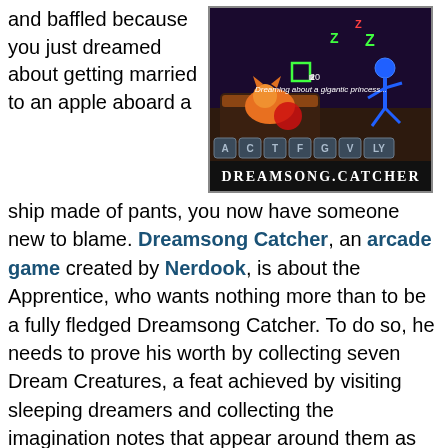and baffled because you just dreamed about getting married to an apple aboard a
[Figure (screenshot): Screenshot of Dreamsong Catcher game showing dark purple/night background with a sleeping character, blue stick figure, floating letters A C T F G V LY, and text 'Dreaming about a gigantic princess...' with score 20. Title 'DREAMSONG.CATCHER' at bottom.]
ship made of pants, you now have someone new to blame. Dreamsong Catcher, an arcade game created by Nerdook, is about the Apprentice, who wants nothing more than to be a fully fledged Dreamsong Catcher. To do so, he needs to prove his worth by collecting seven Dream Creatures, a feat achieved by visiting sleeping dreamers and collecting the imagination notes that appear around them as they sleep. Control is simple; just click on the lit keys (or type the letter if you're quick enough) to send a blast flying that collects green notes, trying to avoid any